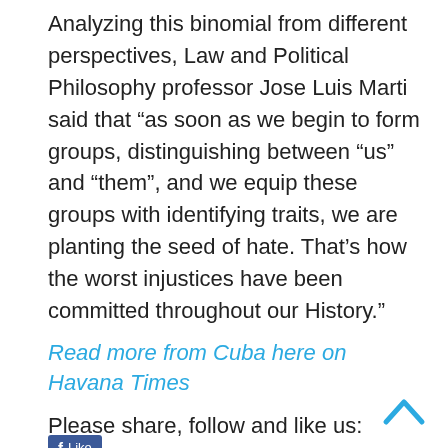Analyzing this binomial from different perspectives, Law and Political Philosophy professor Jose Luis Marti said that “as soon as we begin to form groups, distinguishing between “us” and “them”, and we equip these groups with identifying traits, we are planting the seed of hate. That’s how the worst injustices have been committed throughout our History.”
Read more from Cuba here on Havana Times
Please share, follow and like us: